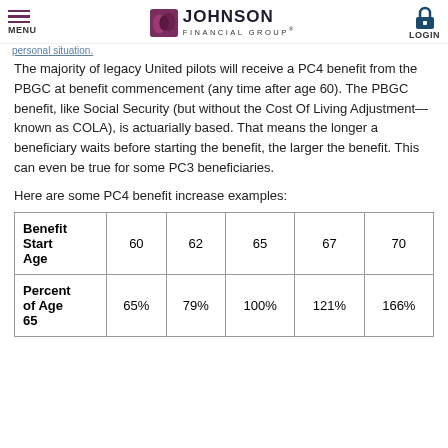MENU | JOHNSON FINANCIAL GROUP | LOGIN
personal situation.
The majority of legacy United pilots will receive a PC4 benefit from the PBGC at benefit commencement (any time after age 60). The PBGC benefit, like Social Security (but without the Cost Of Living Adjustment—known as COLA), is actuarially based. That means the longer a beneficiary waits before starting the benefit, the larger the benefit. This can even be true for some PC3 beneficiaries.
Here are some PC4 benefit increase examples:
| Benefit Start Age | 60 | 62 | 65 | 67 | 70 |
| --- | --- | --- | --- | --- | --- |
| Percent of Age 65 | 65% | 79% | 100% | 121% | 166% |